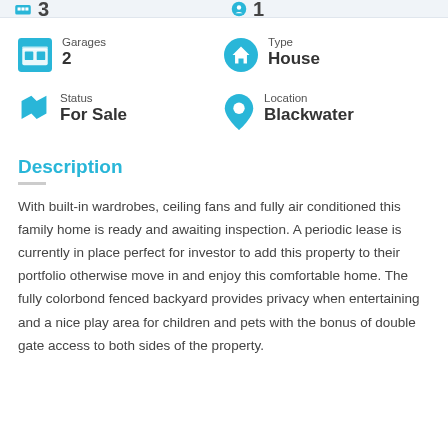3
1
Garages
2
Type
House
Status
For Sale
Location
Blackwater
Description
With built-in wardrobes, ceiling fans and fully air conditioned this family home is ready and awaiting inspection. A periodic lease is currently in place perfect for investor to add this property to their portfolio otherwise move in and enjoy this comfortable home. The fully colorbond fenced backyard provides privacy when entertaining and a nice play area for children and pets with the bonus of double gate access to both sides of the property.